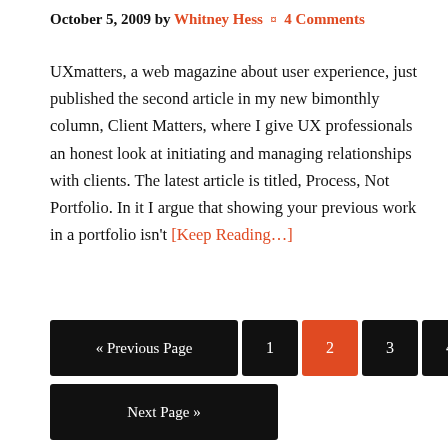October 5, 2009 by Whitney Hess ¤ 4 Comments
UXmatters, a web magazine about user experience, just published the second article in my new bimonthly column, Client Matters, where I give UX professionals an honest look at initiating and managing relationships with clients. The latest article is titled, Process, Not Portfolio. In it I argue that showing your previous work in a portfolio isn't [Keep Reading…]
« Previous Page
1
2
3
4
...
22
Next Page »